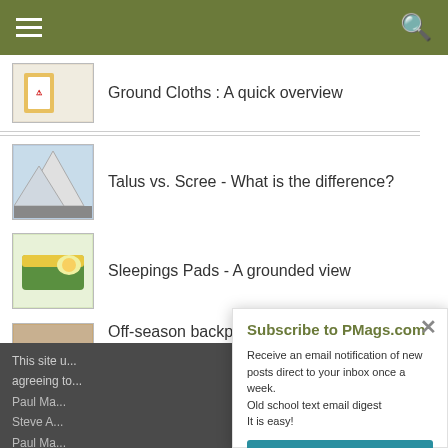Navigation bar with hamburger menu and search icon
Ground Cloths : A quick overview
Talus vs. Scree - What is the difference?
Sleepings Pads - A grounded view
Off-season backpacking destinations in Colorado
Subscribe to PMags.com
Receive an email notification of new posts direct to your inbox once a week.
Old school text email digest
It is easy!
CLICK HERE TO SUBSCRIBE
This site u... agreeing to...
Paul Ma...
Steve A...
Paul Ma...
PaulW o...
Paul Ma...
Grant T...